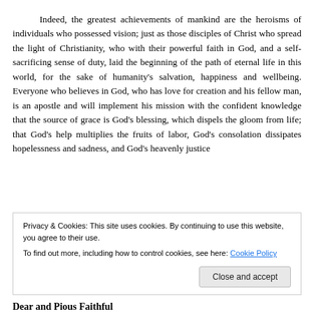Indeed, the greatest achievements of mankind are the heroisms of individuals who possessed vision; just as those disciples of Christ who spread the light of Christianity, who with their powerful faith in God, and a self-sacrificing sense of duty, laid the beginning of the path of eternal life in this world, for the sake of humanity's salvation, happiness and wellbeing. Everyone who believes in God, who has love for creation and his fellow man, is an apostle and will implement his mission with the confident knowledge that the source of grace is God's blessing, which dispels the gloom from life; that God's help multiplies the fruits of labor, God's consolation dissipates hopelessness and sadness, and God's heavenly justice
Privacy & Cookies: This site uses cookies. By continuing to use this website, you agree to their use.
To find out more, including how to control cookies, see here: Cookie Policy
Dear and Pious Faithful